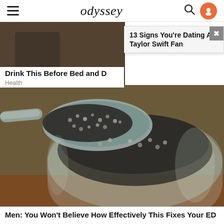odyssey
[Figure (screenshot): Partial image visible behind ad popup — appears to show a person outdoors]
13 Signs You're Dating A Taylor Swift Fan
Drink This Before Bed and D
Health
[Figure (photo): Close-up photo of a spoon scooping chia seeds soaked in water from a glass jar]
Men: You Won't Believe How Effectively This Fixes Your ED